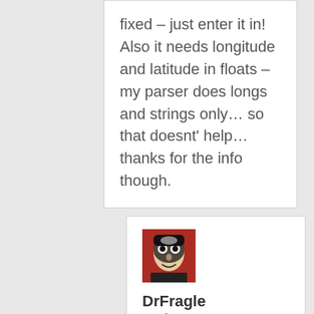fixed – just enter it in! Also it needs longitude and latitude in floats – my parser does longs and strings only… so that doesnt' help… thanks for the info though.
[Figure (photo): Avatar photo of user DrFragle showing a person with face paint or mask]
DrFragle and